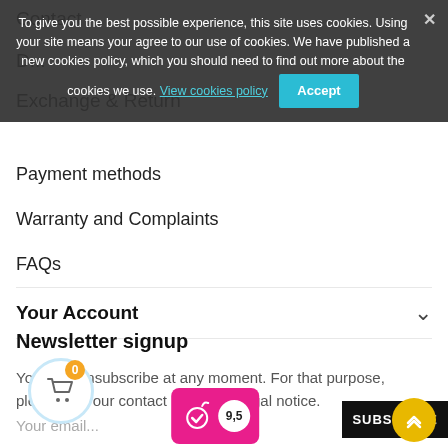Contact
D...
Exchange & Return
[Figure (screenshot): Cookie consent banner overlay with text: To give you the best possible experience, this site uses cookies. Using your site means your agree to our use of cookies. We have published a new cookies policy, which you should need to find out more about the cookies we use. [View cookies policy] [Accept button]]
Payment methods
Warranty and Complaints
FAQs
Your Account
Newsletter signup
You may unsubscribe at any moment. For that purpose, please find our contact info in the legal notice.
Your email...
SUBSCRIBE